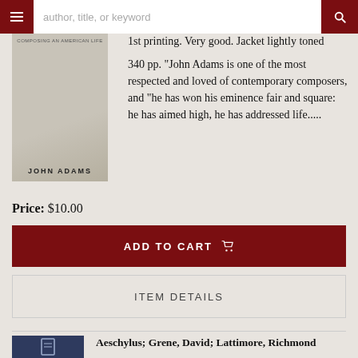[Figure (screenshot): Search bar with hamburger menu on the left, text input reading 'author, title, or keyword', and a dark red search button with magnifying glass icon on the right.]
[Figure (photo): Book cover for John Adams memoir, showing a photo of the author at a desk, with title text and author name 'JOHN ADAMS' at bottom.]
1st printing. Very good. Jacket lightly toned
340 pp. "John Adams is one of the most respected and loved of contemporary composers, and "he has won his eminence fair and square: he has aimed high, he has addressed life......
Price: $10.00
ADD TO CART
ITEM DETAILS
Aeschylus; Grene, David; Lattimore, Richmond